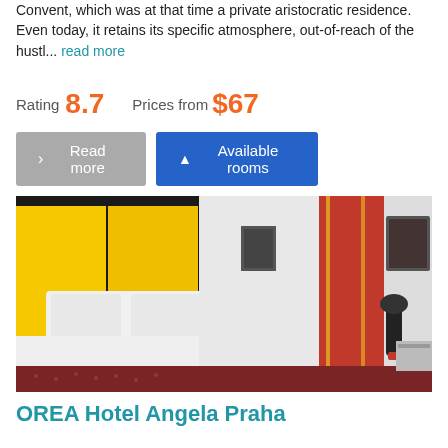Convent, which was at that time a private aristocratic residence. Even today, it retains its specific atmosphere, out-of-reach of the hustl... read more
Rating 8.7   Prices from $67
Read more   Available rooms
[Figure (photo): Hotel room with yellow padded headboard, white bed linens, red and yellow curtains, black desk lamp, and patterned carpet]
OREA Hotel Angela Praha